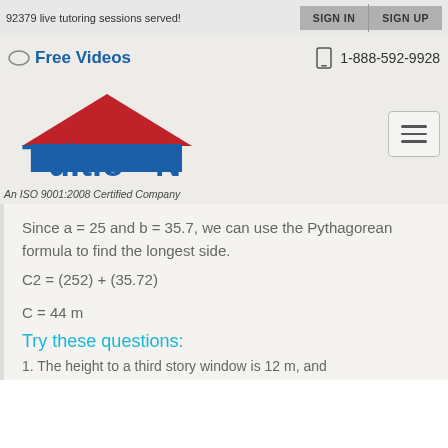92379 live tutoring sessions served!
[Figure (logo): At Home Tuition logo with red roof triangle and blue text]
An ISO 9001:2008 Certified Company
Since a = 25 and b = 35.7, we can use the Pythagorean formula to find the longest side.
Try these questions:
1. The height to a third story window is 12 m, and